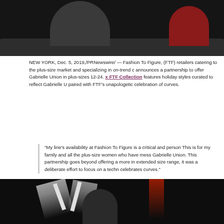[Figure (photo): Dark photo showing people seated on a dark sofa/couch, cropped to show lower bodies. Dark background.]
NEW YORK, Dec. 5, 2019,/PRNewswire/ — Fashion To Figure, (FTF) retailers catering to the plus-size market and specializing in on-trend c... announces a partnership to offer Gabrielle Union in plus-sizes 12-24. x FTF Collection features holiday styles curated to reflect Gabrielle U... paired with FTF's unapologetic celebration of curves.
“My line’s availability at Fashion To Figure is a critical and person... This is for my family and all the plus-size women who have mess... Gabrielle Union. This partnership goes beyond offering a more in... extended size range, it was a deliberate effort to focus on a techn... celebrates curves.”
[Figure (photo): Dark event/stage photo showing a person at what appears to be a stage with lighting rigs and red accent lights in the background.]